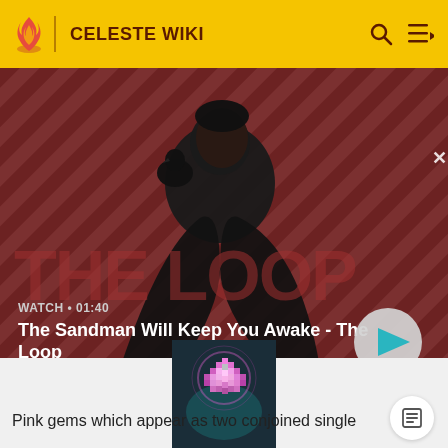CELESTE WIKI
[Figure (screenshot): Video banner showing a dark-clad figure with a raven on shoulder, against a red diagonal-striped background. Text overlay: WATCH • 01:40 / The Sandman Will Keep You Awake - The Loop. Play button on right.]
[Figure (photo): Dark square thumbnail image of a pink/magenta glowing gem pixel art on a dark teal background.]
Pink gems which appear as two conjoined single